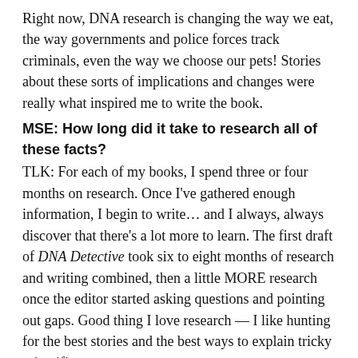Right now, DNA research is changing the way we eat, the way governments and police forces track criminals, even the way we choose our pets! Stories about these sorts of implications and changes were really what inspired me to write the book.
MSE: How long did it take to research all of these facts?
TLK: For each of my books, I spend three or four months on research. Once I've gathered enough information, I begin to write… and I always, always discover that there's a lot more to learn. The first draft of DNA Detective took six to eight months of research and writing combined, then a little MORE research once the editor started asking questions and pointing out gaps. Good thing I love research — I like hunting for the best stories and the best ways to explain tricky scientific concepts.
[Figure (photo): Broken/placeholder image thumbnail on the left side of the bottom row]
MSE: Why did you